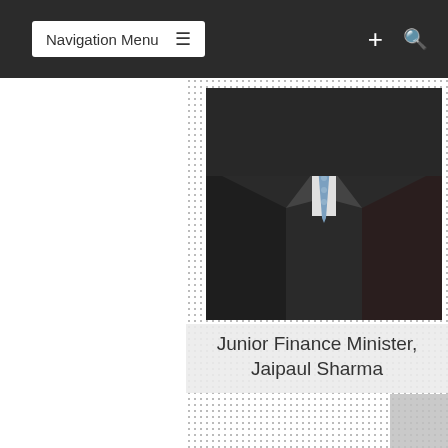Navigation Menu
[Figure (photo): Photo of a man in a dark suit with a tie, cropped from shoulders up, with a dotted/stippled background border]
Junior Finance Minister, Jaipaul Sharma
Government is expected to release numerous forensic audit reports in a matter of two weeks, he said.
He promised that it will not be a second longer than this deadline.
Only four of the 50 forensic audit reports launched by Government have been released. These are the reports